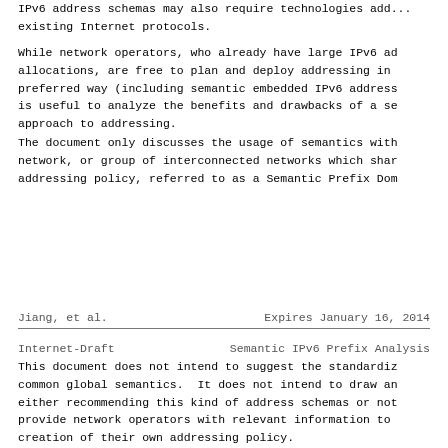IPv6 address schemas may also require technologies additional to existing Internet protocols.
While network operators, who already have large IPv6 address allocations, are free to plan and deploy addressing in their preferred way (including semantic embedded IPv6 addressing), it is useful to analyze the benefits and drawbacks of a semantic approach to addressing.
The document only discusses the usage of semantics within a network, or group of interconnected networks which share an addressing policy, referred to as a Semantic Prefix Dom...
Jiang, et al.          Expires January 16, 2014
Internet-Draft         Semantic IPv6 Prefix Analysis
This document does not intend to suggest the standardization of common global semantics.  It does not intend to draw any conclusion either recommending this kind of address schemas or not.  It aims to provide network operators with relevant information to make creation of their own addressing policy.